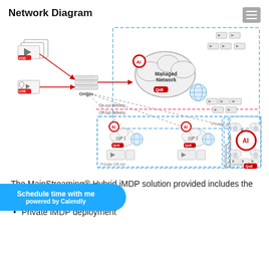Network Diagram
[Figure (network-graph): MainStreaming Hybrid iMDP network diagram showing VOD and LIVE sources connecting to an Origin server, which feeds into a Managed Network (private on-net) with AI and QoE components, and off-net delivery paths to ISP 1 and ISP 2 (Private Off-net) and a Global Off-net section with MainStreaming nodes for minors ISP, all connected with red and dashed arrows.]
The MainStreaming® Hybrid iMDP solution provided includes the following components:
Private iMDP deployment